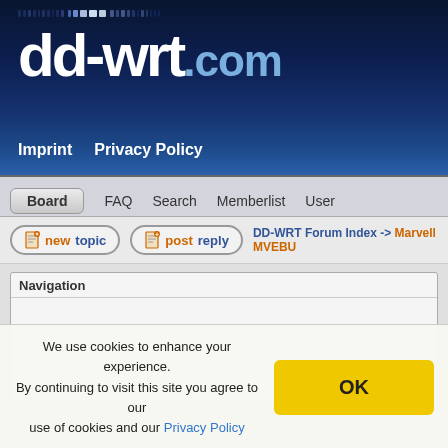[Figure (screenshot): dd-wrt.com website header with logo and navigation dots]
dd-wrt.com
Imprint   Privacy Policy
Board   FAQ   Search   Memberlist   User
new topic   post reply   DD-WRT Forum Index -> Marvell MVEBU
Navigation
We use cookies to enhance your experience. By continuing to visit this site you agree to our use of cookies and our Privacy Policy